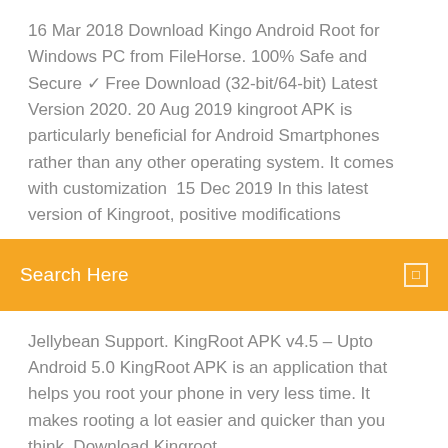16 Mar 2018 Download Kingo Android Root for Windows PC from FileHorse. 100% Safe and Secure ✓ Free Download (32-bit/64-bit) Latest Version 2020. 20 Aug 2019 kingroot APK is particularly beneficial for Android Smartphones rather than any other operating system. It comes with customization  15 Dec 2019 In this latest version of Kingroot, positive modifications
[Figure (screenshot): Orange/amber search bar with 'Search Here' text in white and a small square icon on the right]
Jellybean Support. KingRoot APK v4.5 – Upto Android 5.0 KingRoot APK is an application that helps you root your phone in very less time. It makes rooting a lot easier and quicker than you think. Download Kingroot.
How to download moviebox for android
Commentary on luke free download pdf
Minecraft 1.14.2 worldedit download single player
Lorex where does downloaded files go
Minecraft skin elf girl download